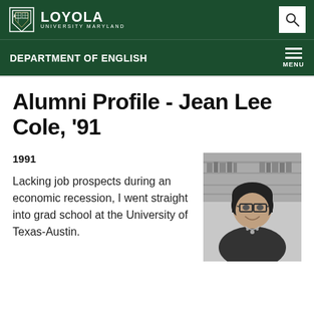LOYOLA UNIVERSITY MARYLAND — DEPARTMENT OF ENGLISH
Alumni Profile - Jean Lee Cole, '91
1991
Lacking job prospects during an economic recession, I went straight into grad school at the University of Texas-Austin.
[Figure (photo): Black and white portrait photo of Jean Lee Cole, a woman wearing glasses and a necklace, smiling, with bookshelves visible in the background.]